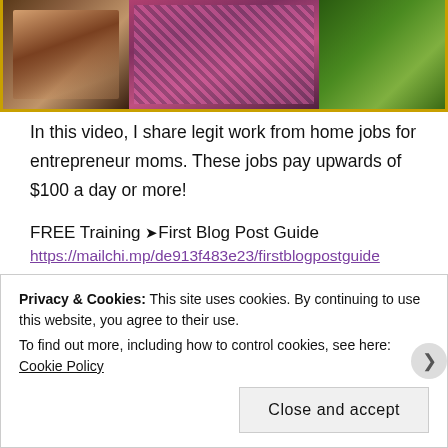[Figure (photo): Photo strip showing a woman working on a laptop and a nature/plant image on the right, with a yellow border frame.]
In this video, I share legit work from home jobs for entrepreneur moms. These jobs pay upwards of $100 a day or more!
FREE Training ➤First Blog Post Guide
https://mailchi.mp/de913f483e23/firstblogpostguide
➤Top 5 Mistakes New YouTubers Make
Privacy & Cookies: This site uses cookies. By continuing to use this website, you agree to their use.
To find out more, including how to control cookies, see here: Cookie Policy
Close and accept